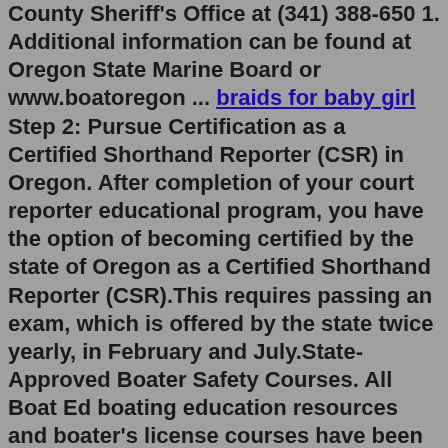County Sheriff's Office at (341) 388-650 1. Additional information can be found at Oregon State Marine Board or www.boatoregon ... braids for baby girl Step 2: Pursue Certification as a Certified Shorthand Reporter (CSR) in Oregon. After completion of your court reporter educational program, you have the option of becoming certified by the state of Oregon as a Certified Shorthand Reporter (CSR).This requires passing an exam, which is offered by the state twice yearly, in February and July.State-Approved Boater Safety Courses. All Boat Ed boating education resources and boater's license courses have been developed in conjunction with the boating safety agencies responsible for boater education in states and provinces, are approved by the National Association of State Boating Law Administrators (NASBLA) and Transport Canada, and are recognized by the U.S. Coast Guard.Past the age of 26, you may drive a jet ski legally without a boating education certificate (boating license). You can study the for the boating education exam to get your